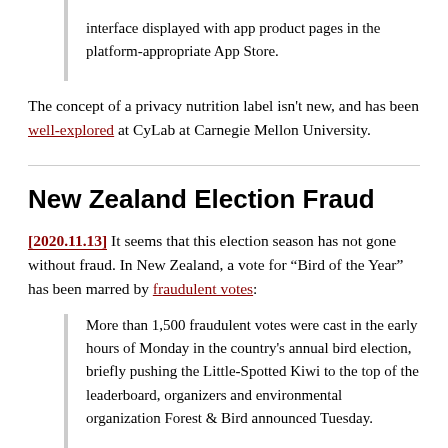interface displayed with app product pages in the platform-appropriate App Store.
The concept of a privacy nutrition label isn't new, and has been well-explored at CyLab at Carnegie Mellon University.
New Zealand Election Fraud
[2020.11.13] It seems that this election season has not gone without fraud. In New Zealand, a vote for “Bird of the Year” has been marred by fraudulent votes:
More than 1,500 fraudulent votes were cast in the early hours of Monday in the country's annual bird election, briefly pushing the Little-Spotted Kiwi to the top of the leaderboard, organizers and environmental organization Forest & Bird announced Tuesday.
Those votes—which were discovered by the election’s official scrutineers—have since been removed. According to election spokesperson Laura Keown, the votes were cast using fake email addresses that were all traced back to the same IP address in Auckland,